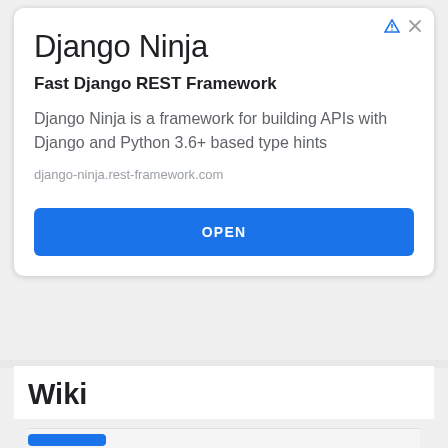[Figure (screenshot): Ad card icons: play/ad triangle icon and X close button in top-right corner]
Django Ninja
Fast Django REST Framework
Django Ninja is a framework for building APIs with Django and Python 3.6+ based type hints
django-ninja.rest-framework.com
OPEN
Wiki